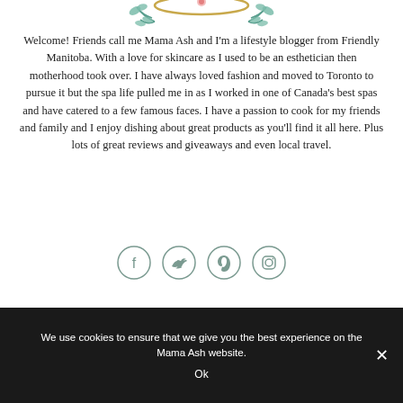[Figure (illustration): Partial view of a floral/botanical decorative illustration with teal/green leaf branches and a circular gold-bordered frame element at the top center of the page.]
Welcome! Friends call me Mama Ash and I'm a lifestyle blogger from Friendly Manitoba. With a love for skincare as I used to be an esthetician then motherhood took over. I have always loved fashion and moved to Toronto to pursue it but the spa life pulled me in as I worked in one of Canada's best spas and have catered to a few famous faces. I have a passion to cook for my friends and family and I enjoy dishing about great products as you'll find it all here. Plus lots of great reviews and giveaways and even local travel.
[Figure (other): Four social media icon circles (Facebook, Twitter, Pinterest, Instagram) with teal-colored outlines and icons on white background.]
Search
We use cookies to ensure that we give you the best experience on the Mama Ash website.
Ok